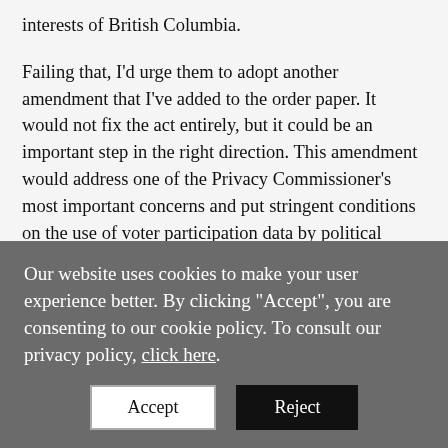interests of British Columbia.

Failing that, I'd urge them to adopt another amendment that I've added to the order paper. It would not fix the act entirely, but it could be an important step in the right direction. This amendment would address one of the Privacy Commissioner's most important concerns and put stringent conditions on the use of voter participation data by political parties. Elec...
Our website uses cookies to make your user experience better. By clicking "Accept", you are consenting to our cookie policy. To consult our privacy policy, click here.